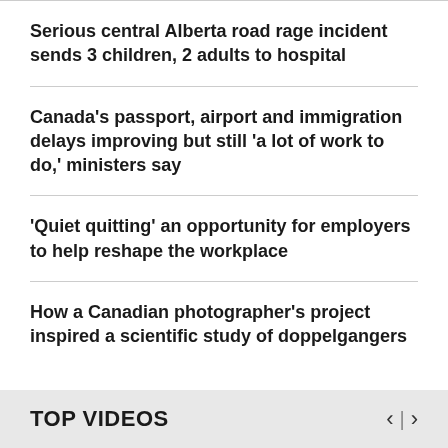Serious central Alberta road rage incident sends 3 children, 2 adults to hospital
Canada's passport, airport and immigration delays improving but still 'a lot of work to do,' ministers say
'Quiet quitting' an opportunity for employers to help reshape the workplace
How a Canadian photographer's project inspired a scientific study of doppelgangers
TOP VIDEOS